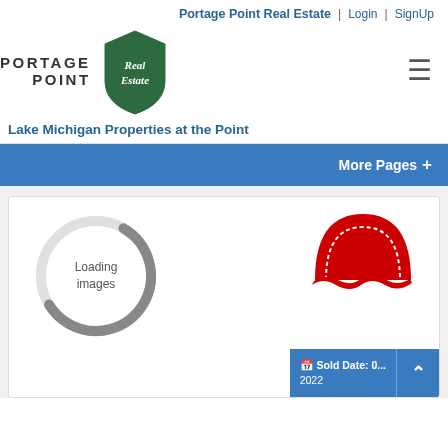Portage Point Real Estate | Login | SignUp
[Figure (logo): Portage Point Real Estate logo — green hexagonal shield with cursive 'Real Estate' text, next to bold 'PORTAGE POINT' text. Hamburger menu icon (three horizontal lines) on the right.]
Lake Michigan Properties at the Point
More Pages +
[Figure (screenshot): Card with a loading spinner (circular gray arc with 'Loading images' text) on the left, a red sold stamp illustration on the right, and a blue box at the bottom showing 'Sold Date: 0... 2022' with a calendar icon.]